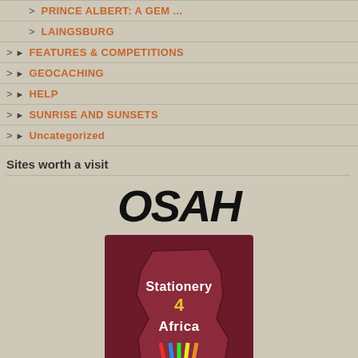> PRINCE ALBERT: A GEM ...
> LAINGSBURG
> ► FEATURES & COMPETITIONS
> ► GEOCACHING
> ► HELP
> ► SUNRISE AND SUNSETS
> ► Uncategorized
Sites worth a visit
[Figure (logo): OSAH logo in bold italic black text]
[Figure (logo): Stationery 4 Africa logo with Africa map shape and colorful pencils]